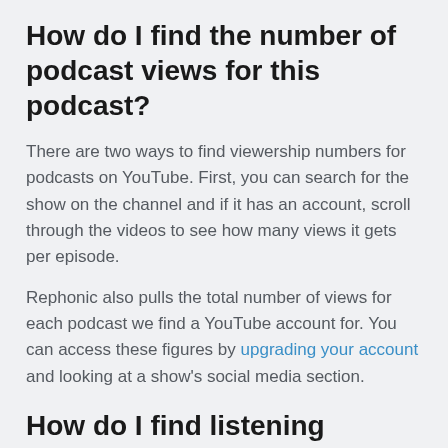How do I find the number of podcast views for this podcast?
There are two ways to find viewership numbers for podcasts on YouTube. First, you can search for the show on the channel and if it has an account, scroll through the videos to see how many views it gets per episode.
Rephonic also pulls the total number of views for each podcast we find a YouTube account for. You can access these figures by upgrading your account and looking at a show's social media section.
How do I find listening figures for this podcast?
Podcast streaming numbers or 'plays' are notoriously tricky to find. Fortunately, Rephonic provides estimated listener figures for this podcast and two million other podcasts in our database.